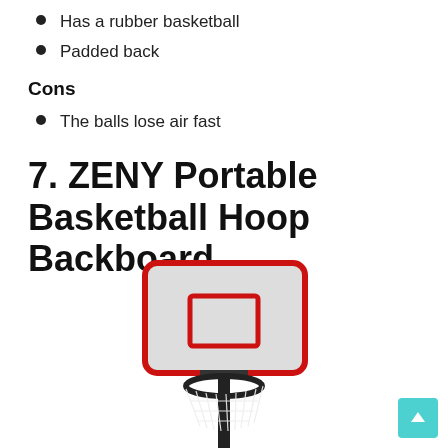Has a rubber basketball
Padded back
Cons
The balls lose air fast
7. ZENY Portable Basketball Hoop Backboard
[Figure (photo): Photo of a ZENY portable basketball hoop backboard with a white backboard with red border markings, a black rim with net, and a pole, on a white background.]